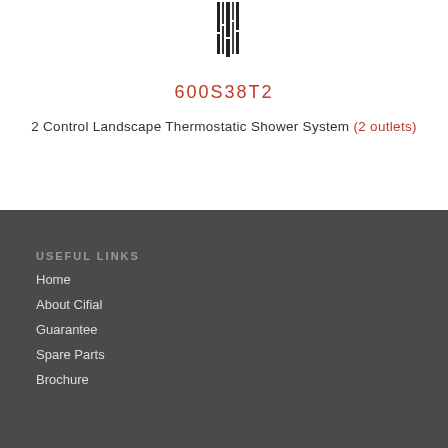[Figure (logo): Partial logo or product image at top center, appears to be a stylized letter or product mark in dark/black]
600S38T2
2 Control Landscape Thermostatic Shower System (2 outlets)
USEFUL LINKS
Home
About Cifial
Guarantee
Spare Parts
Brochure